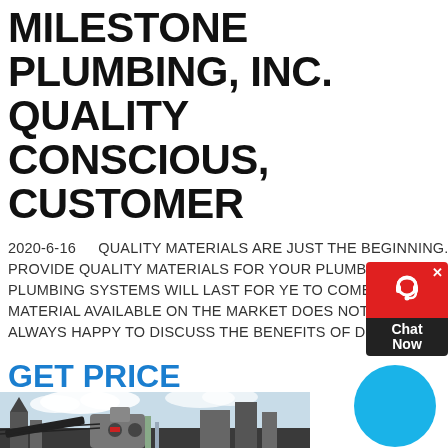MILESTONE PLUMBING, INC. QUALITY CONSCIOUS, CUSTOMER
2020-6-16    QUALITY MATERIALS ARE JUST THE BEGINNING. WE SELECT AND PROVIDE QUALITY MATERIALS FOR YOUR PLUMBING INSTALLATIONS S THAT YOUR PLUMBING SYSTEMS WILL LAST FOR YE TO COME. JUST BECAUSE A PRODUCT OR MATERIAL AVAILABLE ON THE MARKET DOES NOT MEAN IT IS A GOOD FIT. WE ARE ALWAYS HAPPY TO DISCUSS THE BENEFITS OF DIFFERENT PRODUCTS TO HELP YOU
GET PRICE
[Figure (photo): Industrial/construction site with machinery, cranes, and equipment against a partly cloudy sky]